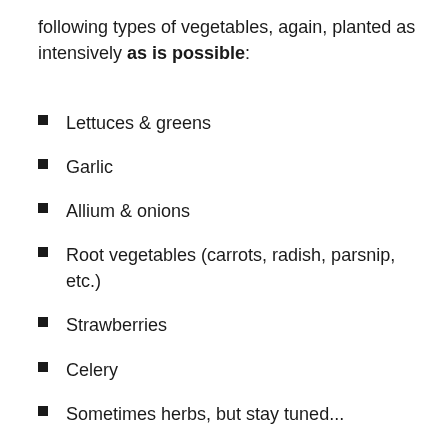following types of vegetables, again, planted as intensively as is possible:
Lettuces & greens
Garlic
Allium & onions
Root vegetables (carrots, radish, parsnip, etc.)
Strawberries
Celery
Sometimes herbs, but stay tuned...